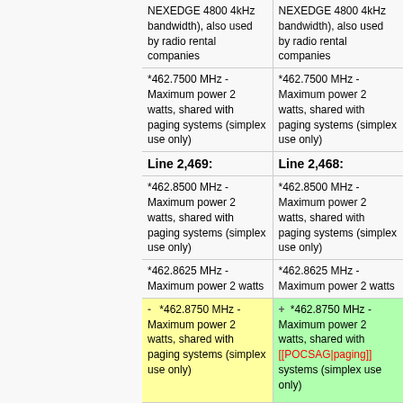| (previous) | (next) |
| --- | --- |
| NEXEDGE 4800 4kHz bandwidth), also used by radio rental companies | NEXEDGE 4800 4kHz bandwidth), also used by radio rental companies |
| *462.7500 MHz - Maximum power 2 watts, shared with paging systems (simplex use only) | *462.7500 MHz - Maximum power 2 watts, shared with paging systems (simplex use only) |
| Line 2,469: | Line 2,468: |
| *462.8500 MHz - Maximum power 2 watts, shared with paging systems (simplex use only) | *462.8500 MHz - Maximum power 2 watts, shared with paging systems (simplex use only) |
| *462.8625 MHz - Maximum power 2 watts | *462.8625 MHz - Maximum power 2 watts |
| - *462.8750 MHz - Maximum power 2 watts, shared with paging systems (simplex use only) | + *462.8750 MHz - Maximum power 2 watts, shared with [[POCSAG|paging]] systems (simplex use only) |